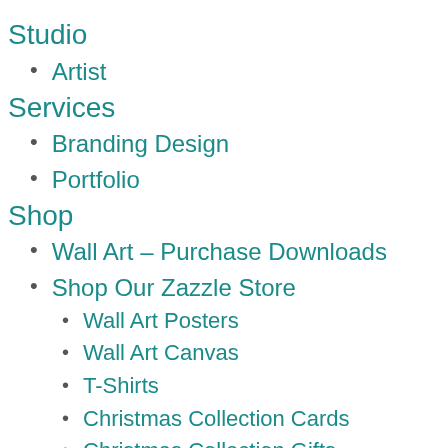Studio
Artist
Services
Branding Design
Portfolio
Shop
Wall Art – Purchase Downloads
Shop Our Zazzle Store
Wall Art Posters
Wall Art Canvas
T-Shirts
Christmas Collection Cards
Christmas Collection Gifts